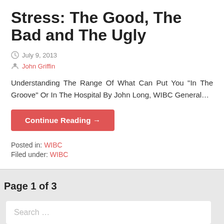Stress: The Good, The Bad and The Ugly
July 9, 2013
John Griffin
Understanding The Range Of What Can Put You “In The Groove” Or In The Hospital By John Long, WIBC General…
Continue Reading →
Posted in: WIBC
Filed under: WIBC
Page 1 of 3
Search ...